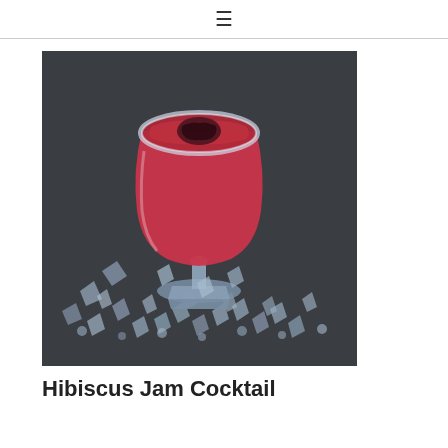≡
[Figure (photo): A red hibiscus jam cocktail served in a vintage stemmed glass with sugar-crystal rim, photographed from above on a dark slate surface surrounded by scattered rock sugar crystals.]
Hibiscus Jam Cocktail